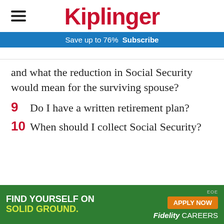Kiplinger
Save up to 76%  Subscribe
and what the reduction in Social Security would mean for the surviving spouse?
9  Do I have a written retirement plan?
10  When should I collect Social Security?
[Figure (infographic): Fidelity Careers advertisement: green background with text 'FIND YOURSELF ON SOLID GROUND.' and orange 'APPLY NOW' button, 'EOE' label, Fidelity Careers branding]